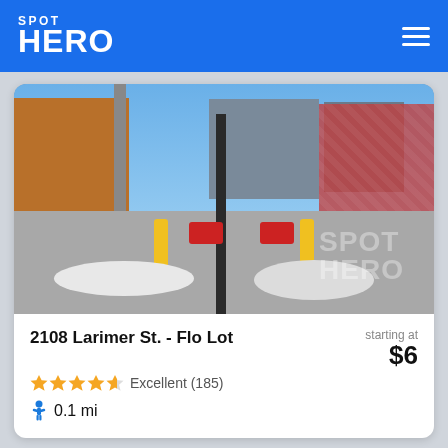SPOT HERO
[Figure (photo): Outdoor parking lot at 2108 Larimer St showing entry barriers, yellow bollards, concrete pavement with snow piles, graffiti wall on right, urban buildings in background, SpotHero watermark visible]
2108 Larimer St. - Flo Lot
starting at $6
Excellent (185)
0.1 mi